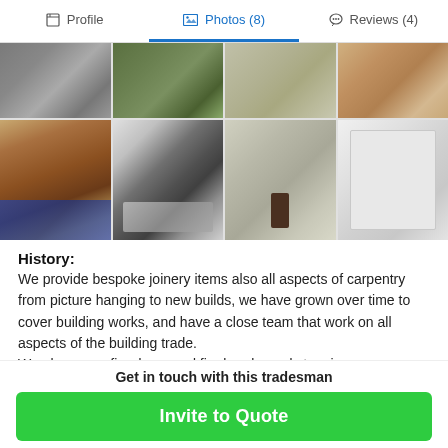Profile | Photos (8) | Reviews (4)
[Figure (photo): Photo gallery grid showing 8 home improvement/joinery photos: top row has 4 smaller images (metallic surface, plants/garden, kitchen counter, wooden floor), bottom row has 4 larger images (staircase with carpet, kitchen with black appliances and oven, white kitchen with island and bar stool, white door and built-in storage).]
History:
We provide bespoke joinery items also all aspects of carpentry from picture hanging to new builds, we have grown over time to cover building works, and have a close team that work on all aspects of the building trade.
We also cover fire doors and fire breaks and stopping
Get in touch with this tradesman
Invite to Quote